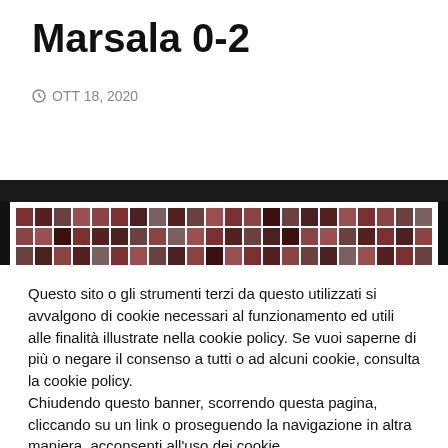Marsala 0-2
OTT 18, 2020
[Figure (photo): Football goal net with colorful mosaic/banner of spectators visible through the net, dark background, partial view of stadium stands]
Questo sito o gli strumenti terzi da questo utilizzati si avvalgono di cookie necessari al funzionamento ed utili alle finalità illustrate nella cookie policy. Se vuoi saperne di più o negare il consenso a tutti o ad alcuni cookie, consulta la cookie policy.
Chiudendo questo banner, scorrendo questa pagina, cliccando su un link o proseguendo la navigazione in altra maniera, acconsenti all'uso dei cookie..
Cookie settings
ACCETTA